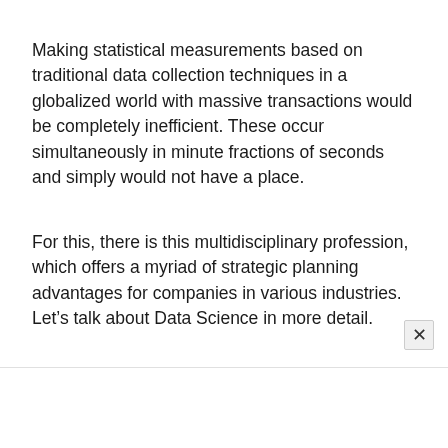Making statistical measurements based on traditional data collection techniques in a globalized world with massive transactions would be completely inefficient. These occur simultaneously in minute fractions of seconds and simply would not have a place.
For this, there is this multidisciplinary profession, which offers a myriad of strategic planning advantages for companies in various industries. Let’s talk about Data Science in more detail.